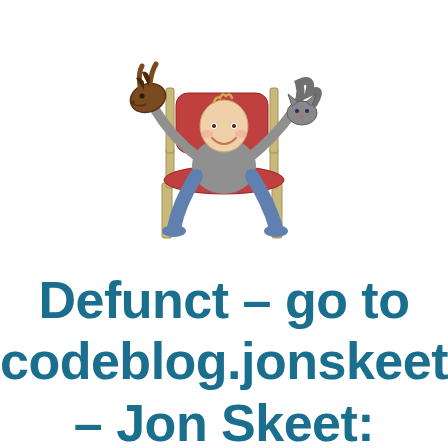[Figure (illustration): Cartoon illustration of a person sitting on a chair holding a horse hand puppet in one hand and a cat/snake in the other]
Defunct – go to codeblog.jonskeet.u – Jon Skeet: Coding Blog